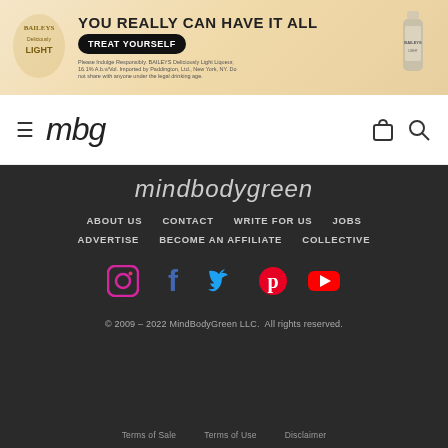[Figure (photo): Baileys Deliciously Light advertisement banner with text 'YOU REALLY CAN HAVE IT ALL', 'TREAT YOURSELF' button, and a bottle image on the right]
[Figure (logo): MindBodyGreen (mbg) website navigation bar with hamburger menu, mbg logo, shopping bag icon, and search icon]
mindbodygreen
ABOUT US
CONTACT
WRITE FOR US
JOBS
ADVERTISE
BECOME AN AFFILIATE
COLLECTIVE
[Figure (infographic): Social media icons row: Instagram, Facebook, Twitter, Pinterest, YouTube]
© 2009 - 2022 MindBodyGreen LLC.  All rights reserved.
Terms of Sale    Terms of Use    Disclaimer